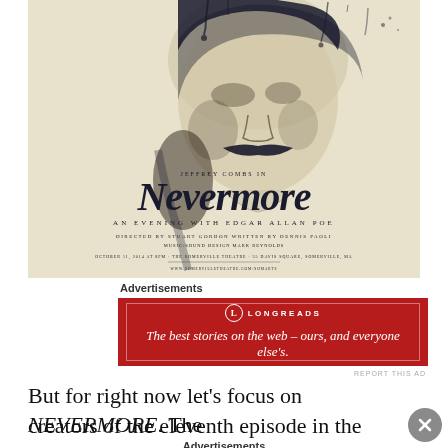[Figure (illustration): Movie/show poster for 'Nevermore: An Evening with Edgar Allan Poe' featuring Jeffrey Combs. Dark ink illustration of a face with mustache, dripping ink effects. Cream/beige background. Script title 'Nevermore' in large cursive text. Directed by Stuart Gordon, written by Dennis Paoli.]
Advertisements
[Figure (other): Longreads advertisement banner. Red background with white text: 'The best stories on the web – ours, and everyone else's.']
REPORT THIS AD
But for right now let's focus on NEVERMORE. The creators of the eleventh episode in the second season
Advertisements